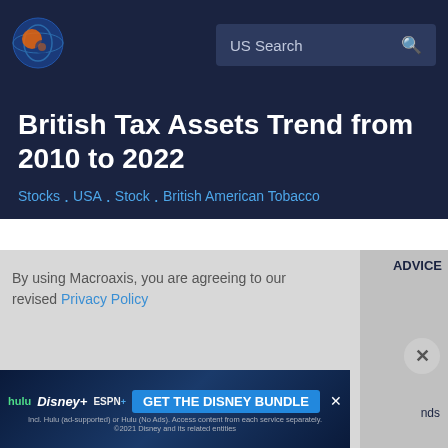[Figure (logo): Macroaxis globe logo — dark blue and orange circular icon]
US Search
British Tax Assets Trend from 2010 to 2022
Stocks . USA . Stock . British American Tobacco
ADVICE
By using Macroaxis, you are agreeing to our revised Privacy Policy
nds
OK
[Figure (screenshot): Disney Bundle advertisement banner: hulu, Disney+, ESPN+ logos with GET THE DISNEY BUNDLE call to action. Fine print: Incl. Hulu (ad-supported) or Hulu (No Ads). Access content from each service separately. ©2021 Disney and its related entities]